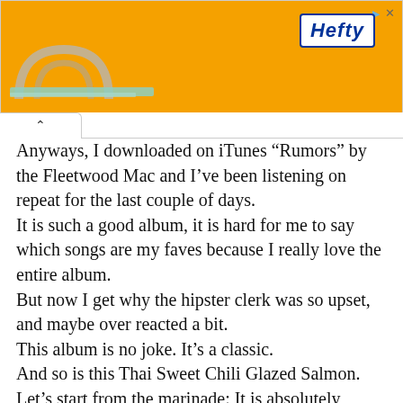[Figure (other): Orange Hefty advertisement banner with logo and decorative graphic elements, close button in top right]
Anyways, I downloaded on iTunes “Rumors” by the Fleetwood Mac and I’ve been listening on repeat for the last couple of days.
It is such a good album, it is hard for me to say which songs are my faves because I really love the entire album.
But now I get why the hipster clerk was so upset, and maybe over reacted a bit.
This album is no joke. It’s a classic.
And so is this Thai Sweet Chili Glazed Salmon.
Let’s start from the marinade: It is absolutely delicious. First you taste the scallions, garlic and tamarind, then the raw coconut sugar and the lime, and then the hot comes with the chili taste.